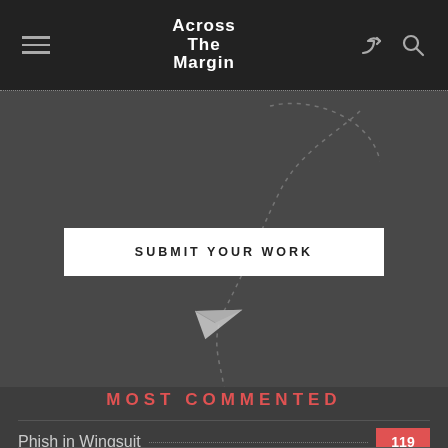Across The Margin
[Figure (illustration): Dark grey background with a dashed curved line and paper airplane illustration, with a white 'SUBMIT YOUR WORK' button]
MOST COMMENTED
Phish in Wingsuit — 119
Descent — 68
The Swim — 36